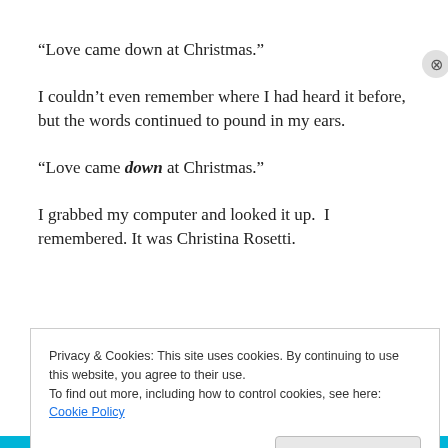“Love came down at Christmas.”
I couldn’t even remember where I had heard it before, but the words continued to pound in my ears.
“Love came down at Christmas.”
I grabbed my computer and looked it up.  I remembered. It was Christina Rosetti.
“Love came down at Christmas
Privacy & Cookies: This site uses cookies. By continuing to use this website, you agree to their use.
To find out more, including how to control cookies, see here: Cookie Policy
Close and accept